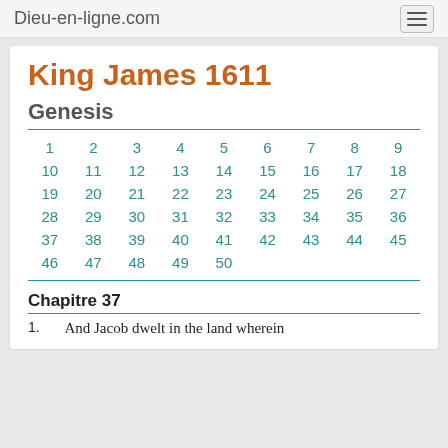Dieu-en-ligne.com
King James 1611
Genesis
| 1 | 2 | 3 | 4 | 5 | 6 | 7 | 8 | 9 |
| 10 | 11 | 12 | 13 | 14 | 15 | 16 | 17 | 18 |
| 19 | 20 | 21 | 22 | 23 | 24 | 25 | 26 | 27 |
| 28 | 29 | 30 | 31 | 32 | 33 | 34 | 35 | 36 |
| 37 | 38 | 39 | 40 | 41 | 42 | 43 | 44 | 45 |
| 46 | 47 | 48 | 49 | 50 |  |  |  |  |
Chapitre 37
And Jacob dwelt in the land wherein